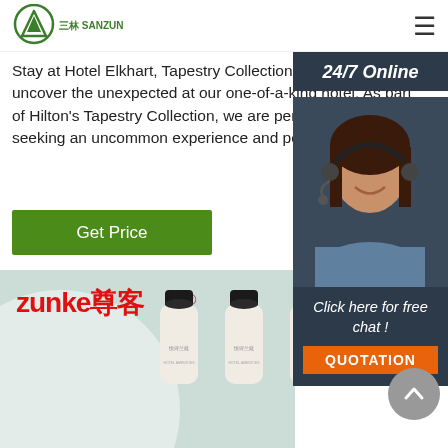SANZUN logo and hamburger menu
Stay at Hotel Elkhart, Tapestry Collection by Hilton and uncover the unexpected at our one-of-a-kind hotel. As part of Hilton's Tapestry Collection, we are perfect for guests seeking an uncommon experience and peace of mind.
Get Price
24/7 Online
[Figure (photo): Customer service representative wearing headset, smiling]
Click here for free chat !
QUOTATION
[Figure (photo): Zunke brand product bottles (lotion/toiletry bottles) with Chinese label text 悦诗兰庭 on light teal background with decorative circle and Zunke 尊客 logo]